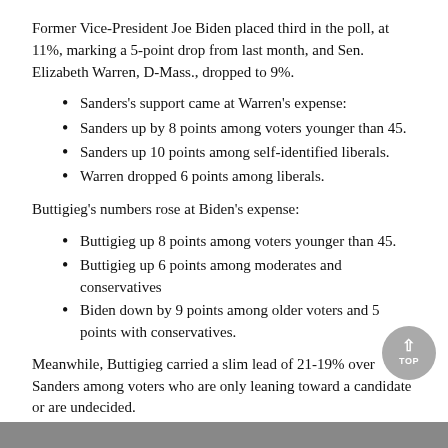Former Vice-President Joe Biden placed third in the poll, at 11%, marking a 5-point drop from last month, and Sen. Elizabeth Warren, D-Mass., dropped to 9%.
Sanders's support came at Warren's expense:
Sanders up by 8 points among voters younger than 45.
Sanders up 10 points among self-identified liberals.
Warren dropped 6 points among liberals.
Buttigieg's numbers rose at Biden's expense:
Buttigieg up 8 points among voters younger than 45.
Buttigieg up 6 points among moderates and conservatives
Biden down by 9 points among older voters and 5 points with conservatives.
Meanwhile, Buttigieg carried a slim lead of 21-19% over Sanders among voters who are only leaning toward a candidate or are undecided.
Most primary voters, at 56%, said they anticipate Sanders will win the primary.